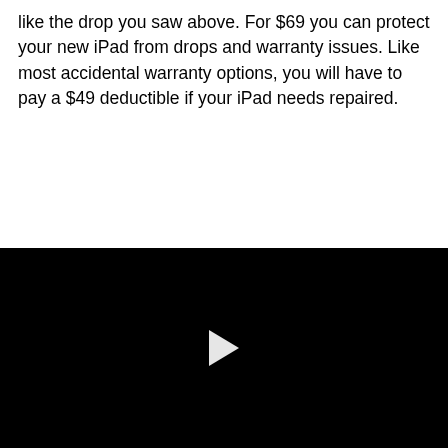like the drop you saw above. For $69 you can protect your new iPad from drops and warranty issues. Like most accidental warranty options, you will have to pay a $49 deductible if your iPad needs repaired.
[Figure (other): Black video player with a white play button triangle in the center]